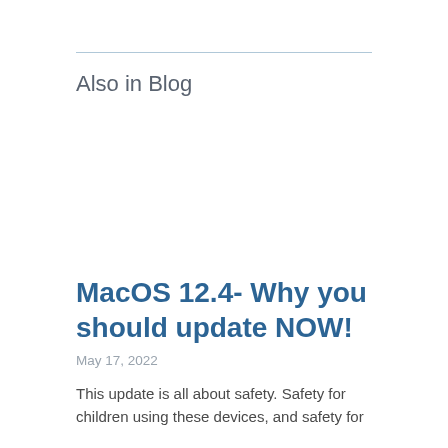Also in Blog
MacOS 12.4- Why you should update NOW!
May 17, 2022
This update is all about safety. Safety for children using these devices, and safety for